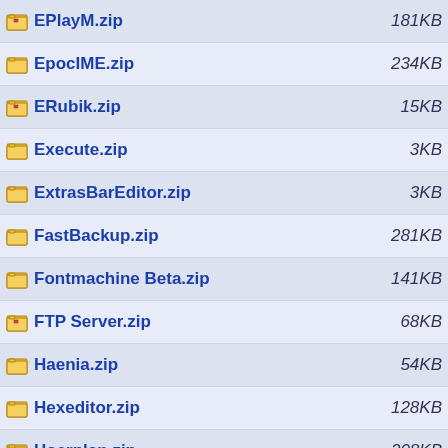EPlayM.zip  181KB
EpocIME.zip  234KB
ERubik.zip  15KB
Execute.zip  3KB
ExtrasBarEditor.zip  3KB
FastBackup.zip  281KB
Fontmachine Beta.zip  141KB
FTP Server.zip  68KB
Haenia.zip  54KB
Hexeditor.zip  128KB
Hoerplan.zip  208KB
HTML-ER5.zip  90KB
Invaders.zip  186KB
IRC.zip  45KB
Java IDE's.zip  357KB
JE5.SIS  351KB
jIRC.zip  272KB
jIRC Wrapper.zip  2KB
JPE.sis  41KB
Mondopondo.zip  320KB
MpsEpoc.zip  225KB
nArchive.zip  75KB
Nethack.zip  1118KB
nICQ.zip  253KB